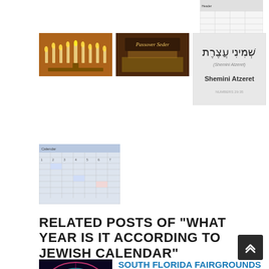[Figure (photo): Top-right thumbnail showing a table/spreadsheet document]
[Figure (photo): Menorah with lit candles on warm golden background]
[Figure (photo): Passover Seder table with text overlay reading 'Passover Seder']
[Figure (photo): Shemini Atzeret card with Hebrew text and English translation]
[Figure (photo): Calendar or spreadsheet thumbnail]
RELATED POSTS OF "WHAT YEAR IS IT ACCORDING TO JEWISH CALENDAR"
[Figure (photo): South Florida Fairgrounds colorful spinning ride at night]
SOUTH FLORIDA FAIRGROUNDS EVENTS 2021